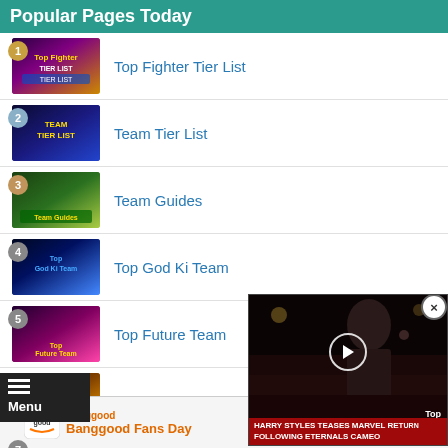Popular Pages Today
1 Top Fighter Tier List
2 Team Tier List
3 Team Guides
4 Top God Ki Team
5 Top Future Team
6 Top Saiyan Team
7
[Figure (screenshot): Video overlay showing a person at an event with caption: HARRY STYLES TEASES MARVEL RETURN FOLLOWING ETERNALS CAMEO]
[Figure (screenshot): Menu overlay with hamburger icon and Menu label]
[Figure (screenshot): Banggood advertisement banner: Banggood Fans Day with Open button]